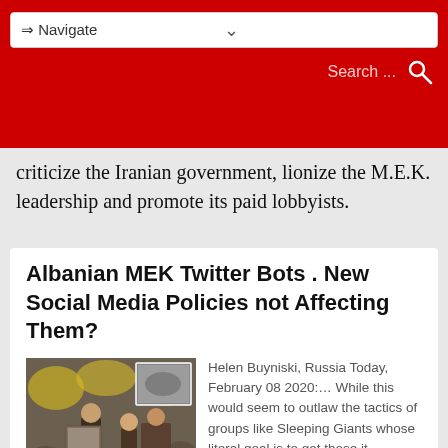⇒ Navigate | Search ...
criticize the Iranian government, lionize the M.E.K. leadership and promote its paid lobbyists.
Albanian MEK Twitter Bots . New Social Media Policies not Affecting Them?
[Figure (photo): Collage of photos related to MEK/Albanian Twitter bots story]
Helen Buyniski, Russia Today, February 08 2020:… While this would seem to outlaw the tactics of groups like Sleeping Giants whose literal goal is to get those it unilaterally deems 'fascists' platforms…